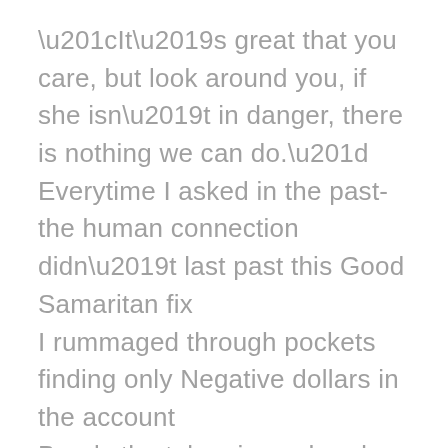“It’s great that you care, but look around you, if she isn’t in danger, there is nothing we can do.” Everytime I asked in the past- the human connection didn’t last past this Good Samaritan fix I rummaged through pockets finding only Negative dollars in the account Barely the token in my hand CAMH* down the street not 30 minute walk away All the narratives my imagination created to bolster my privilege Because I need you to know that I’ve